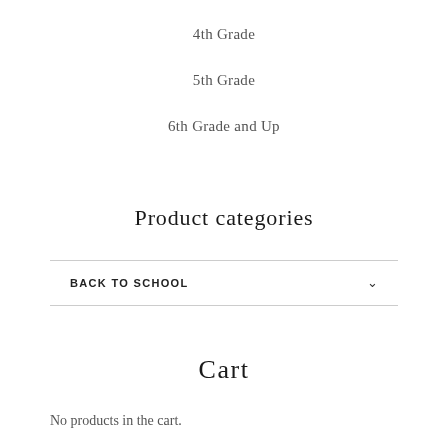4th Grade
5th Grade
6th Grade and Up
Product categories
BACK TO SCHOOL
Cart
No products in the cart.